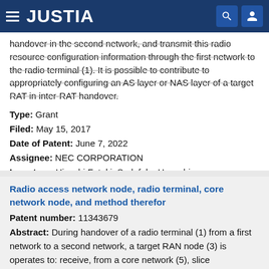JUSTIA
handover in the second network, and transmit this radio resource configuration information through the first network to the radio terminal (1). It is possible to contribute to appropriately configuring an AS layer or NAS layer of a target RAT in inter-RAT handover.
Type: Grant
Filed: May 15, 2017
Date of Patent: June 7, 2022
Assignee: NEC CORPORATION
Inventors: Hisashi Futaki, Sadafuku Hayashi
Radio access network node, radio terminal, core network node, and method therefor
Patent number: 11343679
Abstract: During handover of a radio terminal (1) from a first network to a second network, a target RAN node (3) is operates to: receive, from a core network (5), slice